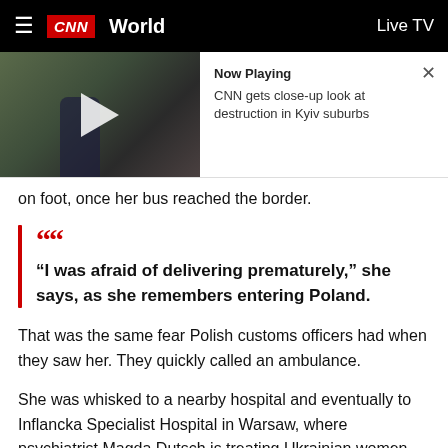≡  CNN  World    Live TV
[Figure (screenshot): CNN video thumbnail showing a person outside a building, with a play button overlay. Now Playing panel reads: 'Now Playing — CNN gets close-up look at destruction in Kyiv suburbs'. Close (X) button in top right.]
on foot, once her bus reached the border.
“I was afraid of delivering prematurely,” she says, as she remembers entering Poland.
That was the same fear Polish customs officers had when they saw her. They quickly called an ambulance.
She was whisked to a nearby hospital and eventually to Inflancka Specialist Hospital in Warsaw, where psychiatrist Magda Dutsch is treating Ukrainian women.